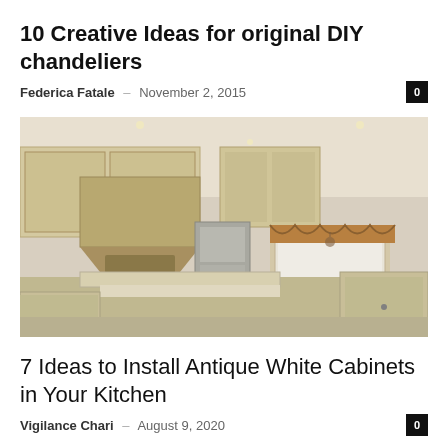10 Creative Ideas for original DIY chandeliers
Federica Fatale – November 2, 2015
[Figure (photo): Interior photo of a large kitchen with antique white cabinets, granite countertops, stainless steel appliances, a range hood, and a window with decorative valance. A kitchen island with marble countertop is in the foreground.]
7 Ideas to Install Antique White Cabinets in Your Kitchen
Vigilance Chari – August 9, 2020